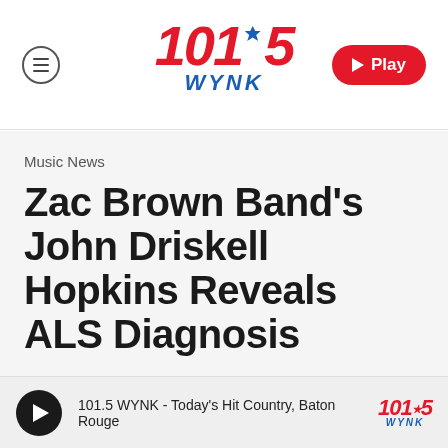101.5 WYNK — Play
Music News
Zac Brown Band's John Driskell Hopkins Reveals ALS Diagnosis
By Dani Medina
101.5 WYNK - Today's Hit Country, Baton Rouge